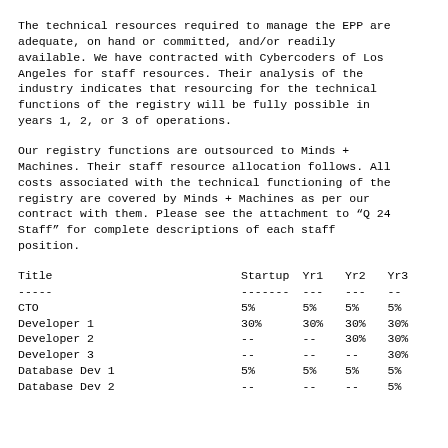The technical resources required to manage the EPP are adequate, on hand or committed, and/or readily available. We have contracted with Cybercoders of Los Angeles for staff resources. Their analysis of the industry indicates that resourcing for the technical functions of the registry will be fully possible in years 1, 2, or 3 of operations.
Our registry functions are outsourced to Minds + Machines. Their staff resource allocation follows. All costs associated with the technical functioning of the registry are covered by Minds + Machines as per our contract with them. Please see the attachment to “Q 24 Staff” for complete descriptions of each staff position.
| Title | Startup | Yr1 | Yr2 | Yr3 |
| --- | --- | --- | --- | --- |
| CTO | 5% | 5% | 5% | 5% |
| Developer 1 | 30% | 30% | 30% | 30% |
| Developer 2 | -- | -- | 30% | 30% |
| Developer 3 | -- | -- | -- | 30% |
| Database Dev 1 | 5% | 5% | 5% | 5% |
| Database Dev 2 | -- | -- | -- | 5% |